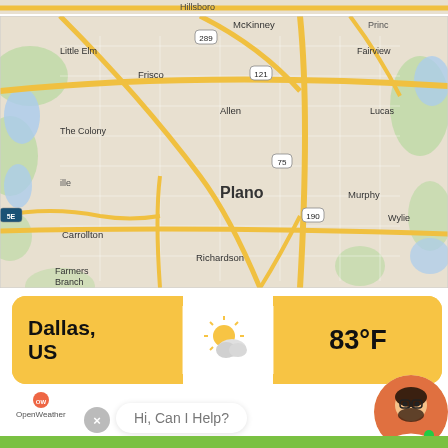[Figure (map): Google Maps view showing Plano, TX area with surrounding cities: Hillsboro (top partial), McKinney, Frisco, Little Elm, Fairview, Allen, Lucas, The Colony, Plano (bold), Murphy, Wylie, Carrollton, Richardson, Farmers Branch. Road numbers 289, 121, 75, 190 visible.]
[Figure (infographic): Weather card showing Dallas, US with 83°F temperature and partly cloudy icon. OpenWeather logo below. Chat bubble saying 'Hi, Can I Help?' with close button and avatar icon.]
Dallas, US
83°F
OpenWeather
Hi, Can I Help?